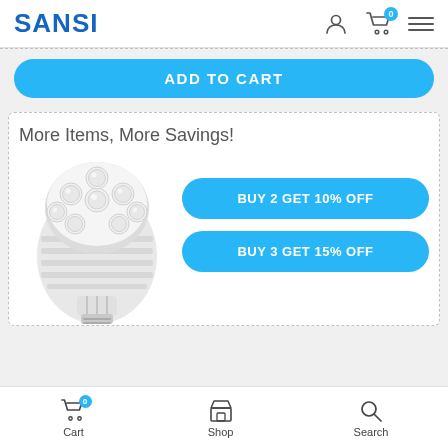SANSI
ADD TO CART
More Items, More Savings!
[Figure (photo): LED PAR light bulb with multiple LED clusters on top and heat-sink fins, with screw base]
BUY 2 GET 10% OFF
BUY 3 GET 15% OFF
Cart  Shop  Search